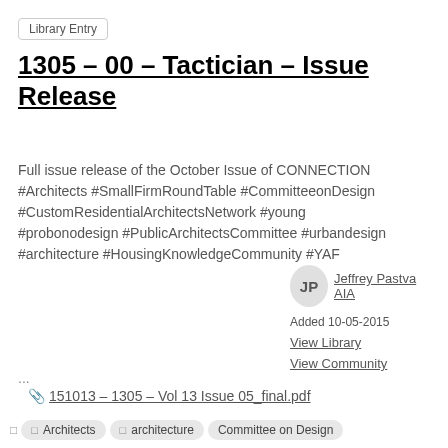Library Entry
1305 - 00 - Tactician - Issue Release
Full issue release of the October Issue of CONNECTION #Architects #SmallFirmRoundTable #CommitteeonDesign #CustomResidentialArchitectsNetwork #young #probonodesign #PublicArchitectsCommittee #urbandesign #architecture #HousingKnowledgeCommunity #YAF ...
Jeffrey Pastva AIA
Added 10-05-2015
View Library
View Community
151013 - 1305 - Vol 13 Issue 05_final.pdf
Architects   architecture   Committee on Design